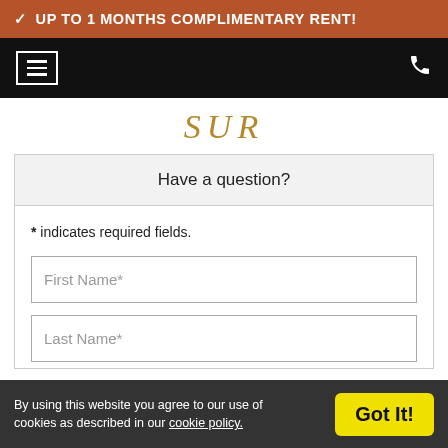✓ UP TO 1 MONTHS COMPLIMENTARY RENT!
[Figure (screenshot): Navigation bar with hamburger menu icon on left and phone icon on right, black background]
SUR
Have a question?
* indicates required fields.
First Name*
Last Name*
By using this website you agree to our use of cookies as described in our cookie policy. Got It!